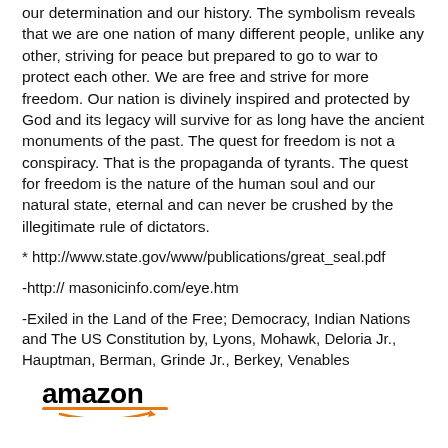our determination and our history. The symbolism reveals that we are one nation of many different people, unlike any other, striving for peace but prepared to go to war to protect each other. We are free and strive for more freedom. Our nation is divinely inspired and protected by God and its legacy will survive for as long have the ancient monuments of the past. The quest for freedom is not a conspiracy. That is the propaganda of tyrants. The quest for freedom is the nature of the human soul and our natural state, eternal and can never be crushed by the illegitimate rule of dictators.
* http://www.state.gov/www/publications/great_seal.pdf
-http:// masonicinfo.com/eye.htm
-Exiled in the Land of the Free; Democracy, Indian Nations and The US Constitution by, Lyons, Mohawk, Deloria Jr., Hauptman, Berman, Grinde Jr., Berkey, Venables
[Figure (logo): Amazon logo with orange underline and arrow]